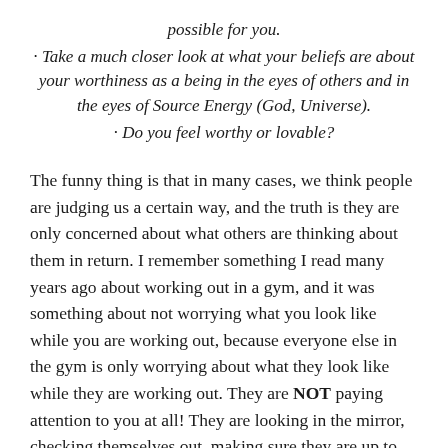possible for you.
Take a much closer look at what your beliefs are about your worthiness as a being in the eyes of others and in the eyes of Source Energy (God, Universe).
Do you feel worthy or lovable?
The funny thing is that in many cases, we think people are judging us a certain way, and the truth is they are only concerned about what others are thinking about them in return. I remember something I read many years ago about working out in a gym, and it was something about not worrying what you look like while you are working out, because everyone else in the gym is only worrying about what they look like while they are working out. They are NOT paying attention to you at all! They are looking in the mirror, checking themselves out, making sure they are up to par, looking